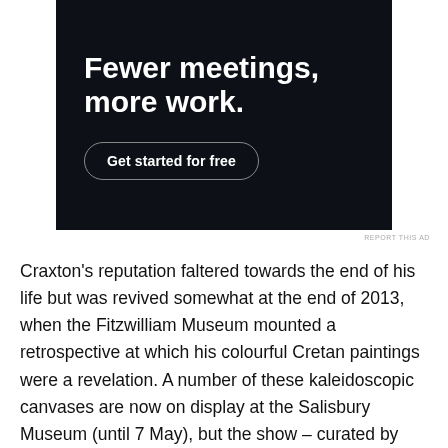[Figure (infographic): Dark-background advertisement with bold white headline 'Fewer meetings, more work.' and a pill-shaped button 'Get started for free']
REPORT THIS AD
Craxton's reputation faltered towards the end of his life but was revived somewhat at the end of 2013, when the Fitzwilliam Museum mounted a retrospective at which his colourful Cretan paintings were a revelation. A number of these kaleidoscopic canvases are now on display at the Salisbury Museum (until 7 May), but the show – curated by Craxton's biographer and executor Ian Collins, and on the second leg of a tour that started at the Dorset Museum in spring 2015 – is a decidedly more local affair. On view